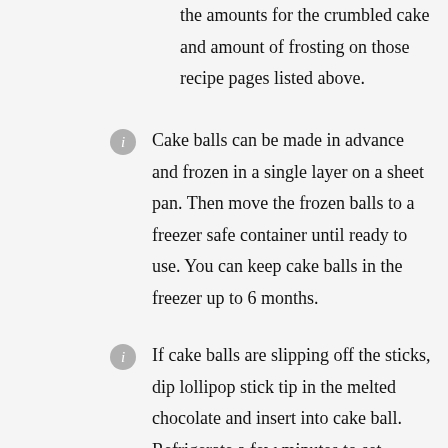the amounts for the crumbled cake and amount of frosting on those recipe pages listed above.
Cake balls can be made in advance and frozen in a single layer on a sheet pan. Then move the frozen balls to a freezer safe container until ready to use. You can keep cake balls in the freezer up to 6 months.
If cake balls are slipping off the sticks, dip lollipop stick tip in the melted chocolate and insert into cake ball. Refrigerate a few minutes to set.